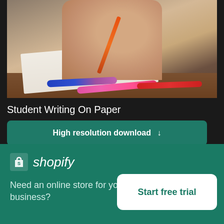[Figure (photo): Close-up photo of a student's hand writing on paper with a pencil/pen, with blue, pink/purple, and red pens lying on a wooden desk in the foreground. Dark background border around the image.]
Student Writing On Paper
High resolution download ↓
[Figure (photo): Partially visible second photo strip below the download button, showing another image with blue tones on the left.]
× (close button)
[Figure (logo): Shopify logo: shopping bag icon with the letter S, followed by the word 'shopify' in italic white text, on a teal/green background.]
Need an online store for your business?
Start free trial